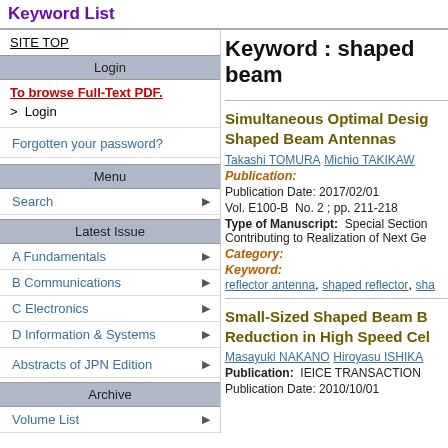Keyword List
SITE TOP
Login
To browse Full-Text PDF.
> Login
Forgotten your password?
Menu
Search
Latest Issue
A Fundamentals
B Communications
C Electronics
D Information & Systems
Abstracts of JPN Edition
Archive
Volume List
Keyword : shaped beam
Simultaneous Optimal Design of Shaped Beam Antennas
Takashi TOMURA  Michio TAKIKAWA
Publication:
Publication Date: 2017/02/01
Vol. E100-B  No. 2 ; pp. 211-218
Type of Manuscript:  Special Section Contributing to Realization of Next Ge
Category:
Keyword:
reflector antenna, shaped reflector, sha
Small-Sized Shaped Beam Base Station Antenna for Interference Reduction in High Speed Cellular Systems
Masayuki NAKANO  Hiroyasu ISHIKA
Publication:  IEICE TRANSACTIONS
Publication Date: 2010/10/01